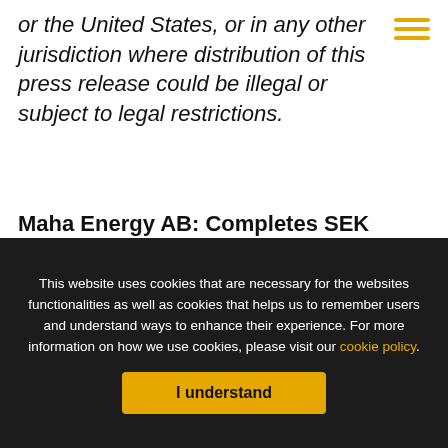or the United States, or in any other jurisdiction where distribution of this press release could be illegal or subject to legal restrictions.
Maha Energy AB: Completes SEK 300,000,000 Bond Financing
Maha Energy AB (publ) ("Maha" or the
This website uses cookies that are necessary for the websites functionalities as well as cookies that helps us to remember users and understand ways to enhance their experience. For more information on how we use cookies, please visit our cookie policy.
I understand